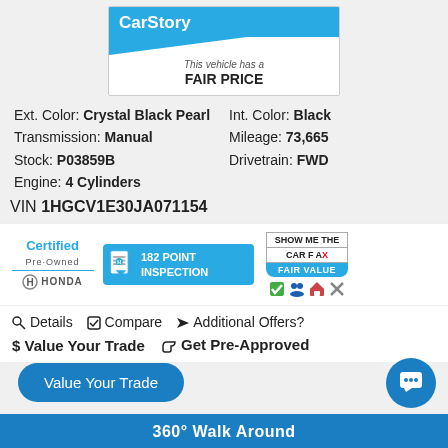[Figure (logo): CarStory badge with 'This vehicle has a FAIR PRICE' text]
Ext. Color: Crystal Black Pearl   Int. Color: Black
Transmission: Manual   Mileage: 73,665
Stock: P03859B   Drivetrain: FWD
Engine: 4 Cylinders
VIN 1HGCV1E30JA071154
[Figure (logo): Certified Pre-Owned Honda logo, 182 Point Inspection badge, Show Me the CARFAX Fair Value badge with icons]
Details   Compare   Additional Offers?
$ Value Your Trade   👍 Get Pre-Approved
Value Your Trade
360° Walk Around